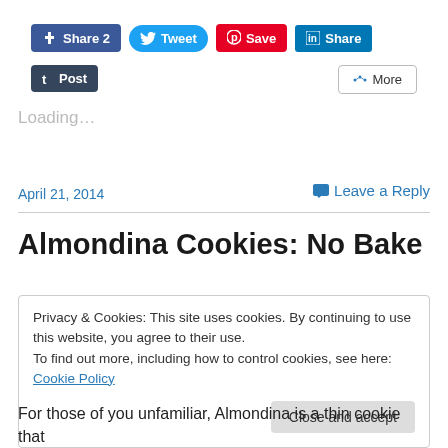[Figure (screenshot): Social sharing buttons: Facebook Share 2, Tweet, Save (Pinterest), LinkedIn Share, Tumblr Post, More]
Loading...
April 21, 2014
Leave a Reply
Almondina Cookies: No Bake
Privacy & Cookies: This site uses cookies. By continuing to use this website, you agree to their use. To find out more, including how to control cookies, see here: Cookie Policy
Close and accept
For those of you unfamiliar, Almondina is a thin cookie that